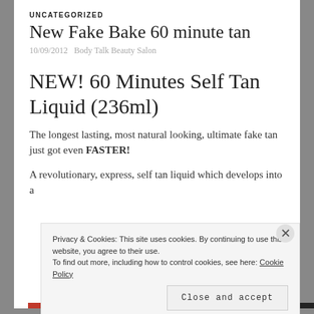UNCATEGORIZED
New Fake Bake 60 minute tan
10/09/2012   Body Talk Beauty Salon
NEW! 60 Minutes Self Tan Liquid (236ml)
The longest lasting, most natural looking, ultimate fake tan just got even FASTER!
A revolutionary, express, self tan liquid which develops into a
Privacy & Cookies: This site uses cookies. By continuing to use this website, you agree to their use.
To find out more, including how to control cookies, see here: Cookie Policy
Close and accept